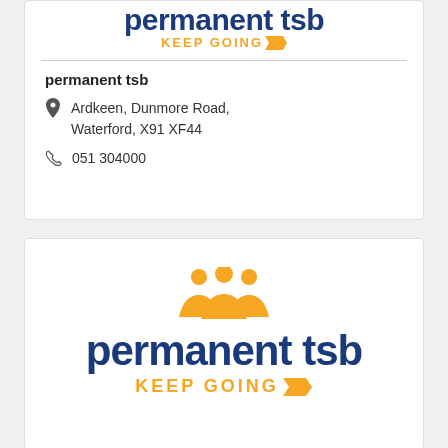[Figure (logo): permanent tsb KEEP GOING logo (partial, top of card)]
permanent tsb
Ardkeen, Dunmore Road, Waterford, X91 XF44
051 304000
[Figure (logo): permanent tsb KEEP GOING full logo with orange people icon above text]